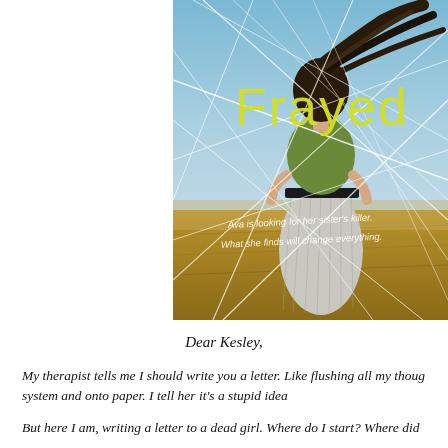[Figure (illustration): Book cover for 'Frayed' showing a young woman with long dark hair seen from behind, wearing a green top and grey pleated skirt, standing in a wheat field against a blue sky. White diagonal lines crisscross the image. The title 'Frayed' is displayed in large yellow text. Taglines read 'Ava is looking for her sister's killer.' and 'What she finds will change everything.']
Dear Kesley,
My therapist tells me I should write you a letter. Like flushing all my thoughts out of my system and onto paper. I tell her it's a stupid idea.
But here I am, writing a letter to a dead girl. Where do I start? Where did